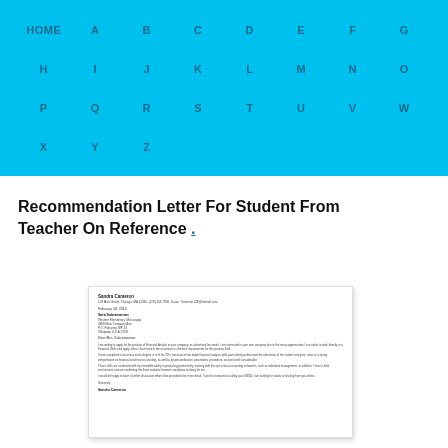HOME A B C D E F G H I J K L M N O P Q R S T U V W X Y Z
Recommendation Letter For Student From Teacher On Reference .
[Figure (other): Preview thumbnail of a recommendation letter document showing sender name, address, date, recipient name, school affiliation, address, salutation, and multiple paragraphs of body text followed by closing and signature.]